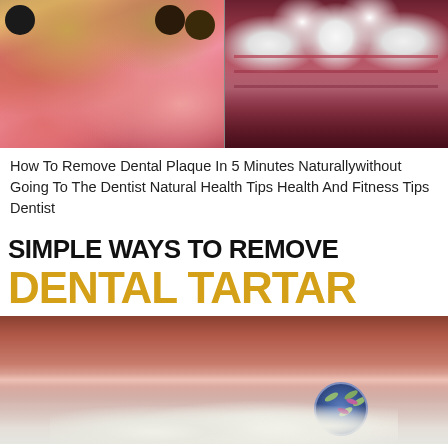[Figure (photo): Two dental photos side by side: left shows teeth with heavy tartar/plaque buildup and inflamed gums (pinkish-red); right shows close-up of teeth with inflamed dark red gum tissue]
How To Remove Dental Plaque In 5 Minutes Naturallywithout Going To The Dentist Natural Health Tips Health And Fitness Tips Dentist
SIMPLE WAYS TO REMOVE DENTAL TARTAR
[Figure (photo): Close-up medical illustration of inflamed gum tissue (dark reddish-brown) with white teeth visible at bottom, and a small circular inset showing bacteria/microorganisms]